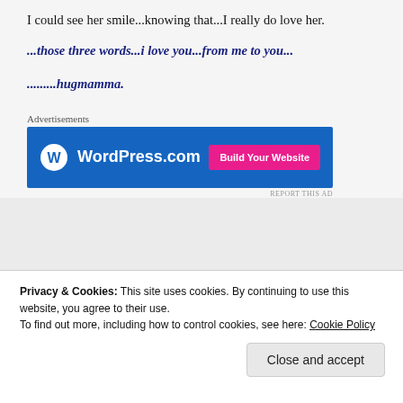I could see her smile...knowing that...I really do love her.
...those three words...i love you...from me to you...
.........hugmamma.
[Figure (screenshot): WordPress.com advertisement banner with blue background, WordPress logo, site name 'WordPress.com', and a pink 'Build Your Website' button]
Privacy & Cookies: This site uses cookies. By continuing to use this website, you agree to their use.
To find out more, including how to control cookies, see here: Cookie Policy
Close and accept